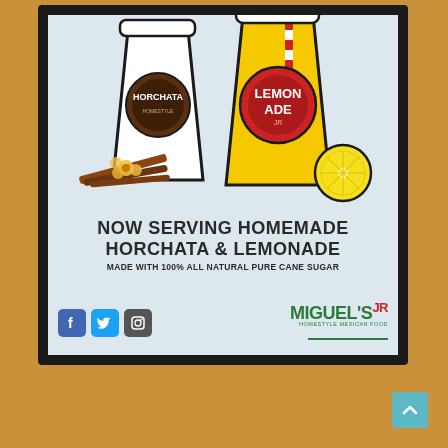[Figure (photo): Photograph of a framed promotional poster for Miguel's Jr restaurant mounted on an orange wall. The poster shows illustrated cups of Horchata and Lemonade with cinnamon sticks and lemon slice decorations, text reading 'NOW SERVING HOMEMADE HORCHATA & LEMONADE MADE WITH 100% ALL NATURAL PURE CANE SUGAR', social media icons (Facebook, Twitter, Instagram), and the Miguel's Jr logo.]